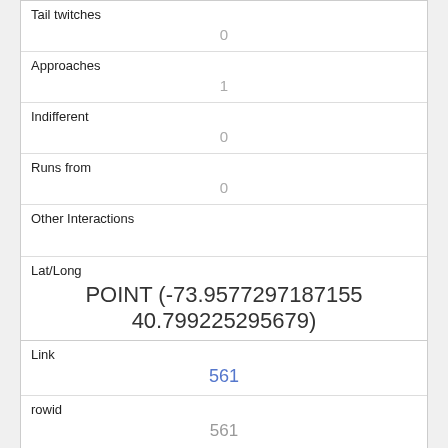| Tail twitches | 0 |
| Approaches | 1 |
| Indifferent | 0 |
| Runs from | 0 |
| Other Interactions |  |
| Lat/Long | POINT (-73.9577297187155 40.799225295679) |
| Link | 561 |
| rowid | 561 |
| longitude | -73.95819824864691 |
| latitude |  |